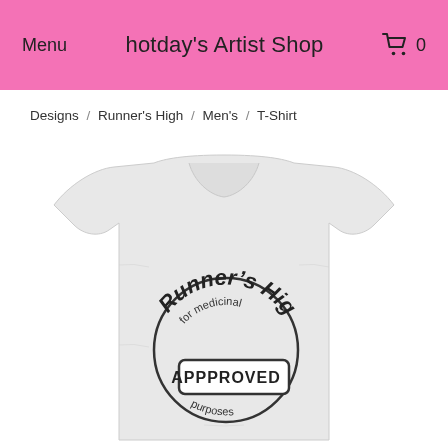Menu  hotday's Artist Shop  🛒 0
Designs / Runner's High / Men's / T-Shirt
[Figure (photo): A grey heather men's t-shirt with a circular stamp design reading 'Runner's High — for medicinal purposes — APPROVED']